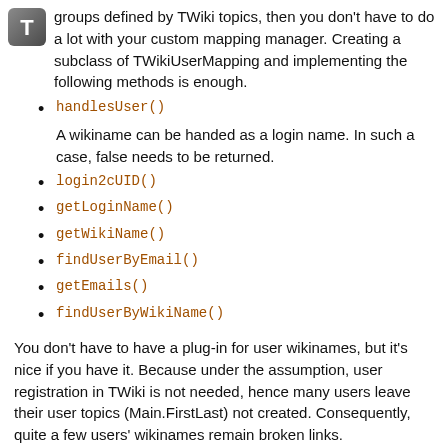groups defined by TWiki topics, then you don't have to do a lot with your custom mapping manager. Creating a subclass of TWikiUserMapping and implementing the following methods is enough.
handlesUser()
A wikiname can be handed as a login name. In such a case, false needs to be returned.
login2cUID()
getLoginName()
getWikiName()
findUserByEmail()
getEmails()
findUserByWikiName()
You don't have to have a plug-in for user wikinames, but it's nice if you have it. Because under the assumption, user registration in TWiki is not needed, hence many users leave their user topics (Main.FirstLast) not created. Consequently, quite a few users' wikinames remain broken links.
If user wikinames are converted into links to directory look-up web site's entries, you don't see such broken links of user wikinames. In addition, the wikiname of non-existent user is